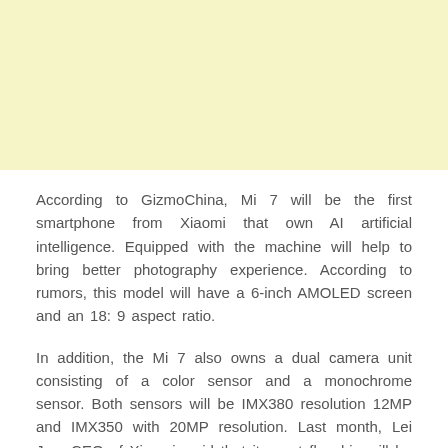[Figure (other): Light yellow/cream colored advertisement banner placeholder at the top of the page]
According to GizmoChina, Mi 7 will be the first smartphone from Xiaomi that own AI artificial intelligence. Equipped with the machine will help to bring better photography experience. According to rumors, this model will have a 6-inch AMOLED screen and an 18: 9 aspect ratio.
In addition, the Mi 7 also owns a dual camera unit consisting of a color sensor and a monochrome sensor. Both sensors will be IMX380 resolution 12MP and IMX350 with 20MP resolution. Last month, Lei Jun, CEO of Xiaomi, said that its next flagship will be powered by the Snapdragon 845 processor.
Rumors said, along with Mi 7, Xiaomi also attended. will